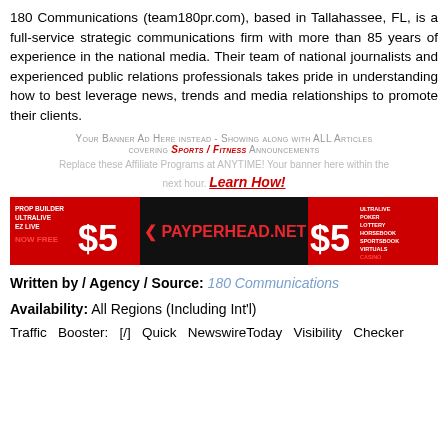180 Communications (team180pr.com), based in Tallahassee, FL, is a full-service strategic communications firm with more than 85 years of experience in the national media. Their team of national journalists and experienced public relations professionals takes pride in understanding how to best leverage news, trends and media relationships to promote their clients.
Your Banner Ad Here instead - Showing along with ALL Articles covering Sports / Fitness Announcements
Replace these Affiliate Programs at ANYTIME! Your banner here within the next hour. Learn How!
[Figure (other): PayPerHead.net advertisement banner showing $5 pricing, sports betting and casino services]
Written by / Agency / Source: 180 Communications
Availability: All Regions (Including Int'l)
Traffic Booster: [/] Quick NewswireToday Visibility Checker